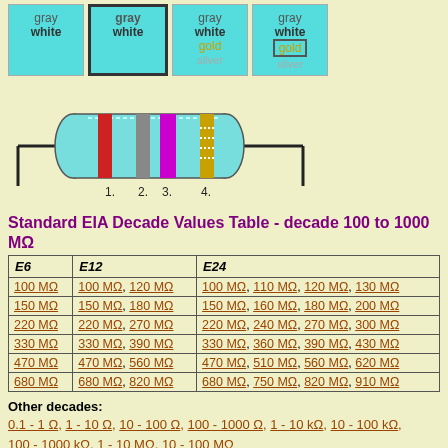[Figure (schematic): Four color band selector boxes for resistor color code: gray/white, gray/white (selected), gray/white/gold/silver, gray/white/gold(selected)/silver]
[Figure (engineering-diagram): 4-band resistor diagram with colored bands labeled 1 (red), 2 (gray), 3 (violet/purple), 4 (gold), mounted on leads]
Standard EIA Decade Values Table - decade 100 to 1000 MΩ
| E6 | E12 | E24 |
| --- | --- | --- |
| 100 MΩ | 100 MΩ, 120 MΩ | 100 MΩ, 110 MΩ, 120 MΩ, 130 MΩ |
| 150 MΩ | 150 MΩ, 180 MΩ | 150 MΩ, 160 MΩ, 180 MΩ, 200 MΩ |
| 220 MΩ | 220 MΩ, 270 MΩ | 220 MΩ, 240 MΩ, 270 MΩ, 300 MΩ |
| 330 MΩ | 330 MΩ, 390 MΩ | 330 MΩ, 360 MΩ, 390 MΩ, 430 MΩ |
| 470 MΩ | 470 MΩ, 560 MΩ | 470 MΩ, 510 MΩ, 560 MΩ, 620 MΩ |
| 680 MΩ | 680 MΩ, 820 MΩ | 680 MΩ, 750 MΩ, 820 MΩ, 910 MΩ |
Other decades:
0.1 - 1 Ω, 1 - 10 Ω, 10 - 100 Ω, 100 - 1000 Ω, 1 - 10 kΩ, 10 - 100 kΩ, 100 - 1000 kΩ, 1 - 10 MΩ, 10 - 100 MΩ
The 4 color band resistor color code brown-gray-violet-gold stands for